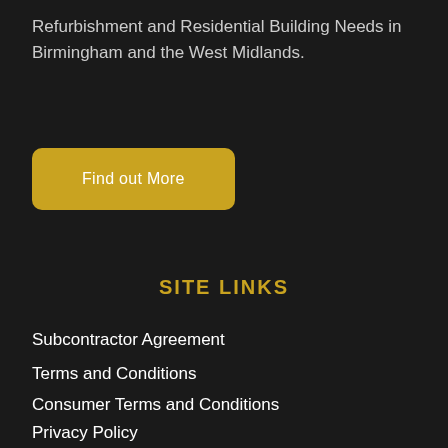Refurbishment and Residential Building Needs in Birmingham and the West Midlands.
[Figure (other): Yellow 'Find out More' button]
SITE LINKS
Subcontractor Agreement
Terms and Conditions
Consumer Terms and Conditions
Privacy Policy
Terms and Conditions